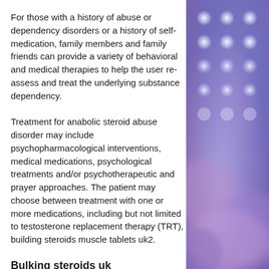For those with a history of abuse or dependency disorders or a history of self-medication, family members and family friends can provide a variety of behavioral and medical therapies to help the user re-assess and treat the underlying substance dependency.
Treatment for anabolic steroid abuse disorder may include psychopharmacological interventions, medical medications, psychological treatments and/or psychotherapeutic and prayer approaches. The patient may choose between treatment with one or more medications, including but not limited to testosterone replacement therapy (TRT), building steroids muscle tablets uk2.
Bulking steroids uk
[Figure (photo): Abstract blurred blue and purple bokeh background with glowing white circles/dots pattern, decorative side image]